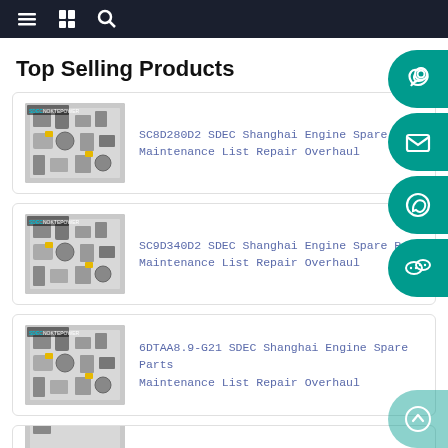Navigation bar with menu, catalog, and search icons
Top Selling Products
SC8D280D2 SDEC Shanghai Engine Spare Parts Maintenance List Repair Overhaul
SC9D340D2 SDEC Shanghai Engine Spare Parts Maintenance List Repair Overhaul
6DTAA8.9-G21 SDEC Shanghai Engine Spare Parts Maintenance List Repair Overhaul